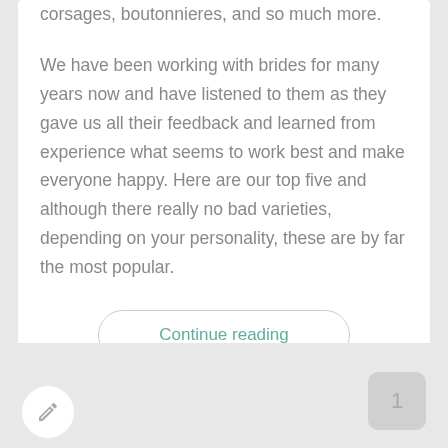corsages, boutonnieres, and so much more.
We have been working with brides for many years now and have listened to them as they gave us all their feedback and learned from experience what seems to work best and make everyone happy. Here are our top five and although there really no bad varieties, depending on your personality, these are by far the most popular.
Continue reading